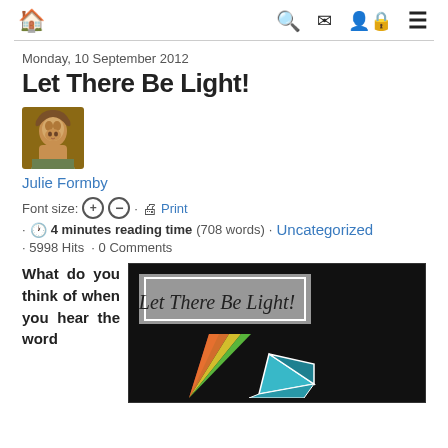Navigation bar with home, search, mail, user/lock, menu icons
Monday, 10 September 2012
Let There Be Light!
[Figure (photo): Author photo of Julie Formby – a woman with brown hair smiling, outdoors background]
Julie Formby
Font size: [+] [-] · [printer] Print · [clock] 4 minutes reading time (708 words) · Uncategorized · 5998 Hits · 0 Comments
What do you think of when you hear the word
[Figure (photo): Article header image on black background with cursive text 'Let There Be Light!' on a grey banner, and a prism dispersing rainbow light with a teal/blue geometric prism shape below]